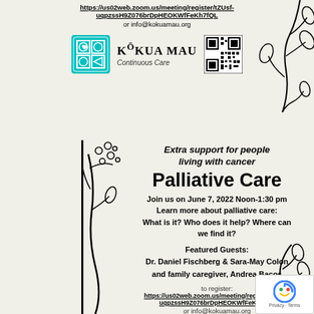https://us02web.zoom.us/meeting/register/tZUsf-uqpzssH9Z076brDpHEOKWfFeKh7fQL
or info@kokuamau.org
[Figure (logo): Kokua Mau Continuous Care logo with teal geometric icon and QR code]
Extra support for people living with cancer
Palliative Care
Join us on June 7, 2022 Noon-1:30 pm
Learn more about palliative care:
What is it? Who does it help? Where can we find it?
Featured Guests:
Dr. Daniel Fischberg & Sara-May Colon
and family caregiver, Andrea Bacos
to register:
https://us02web.zoom.us/meeting/register/tZUsf-uqpzssH9Z076brDpHEOKWfFeKh7fQL
or info@kokuamau.org
[Figure (logo): Kokua Mau Continuous Care logo with teal geometric icon and QR code (bottom)]